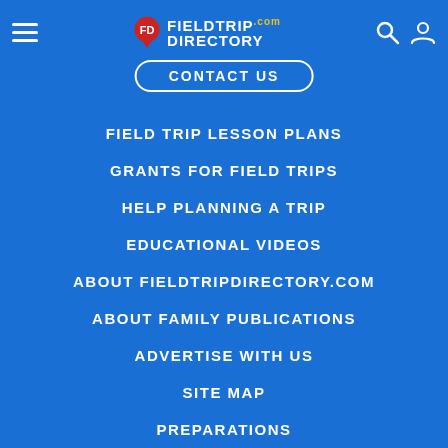[Figure (logo): FieldTripDirectory.com logo with map pin icon, hamburger menu, search icon, and user icon in header]
CONTACT US
FIELD TRIP LESSON PLANS
GRANTS FOR FIELD TRIPS
HELP PLANNING A TRIP
EDUCATIONAL VIDEOS
ABOUT FIELDTRIPDIRECTORY.COM
ABOUT FAMILY PUBLICATIONS
ADVERTISE WITH US
SITE MAP
PREPARATIONS
POST TRIP ACTIVITIES
SAFETY TIPS